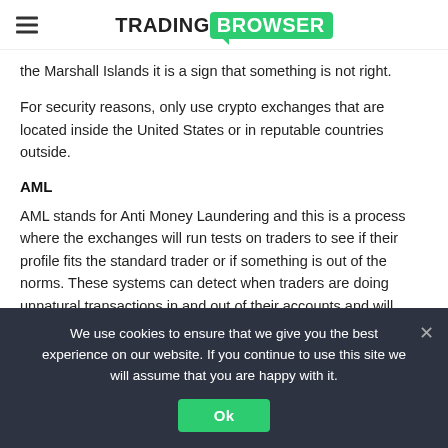TRADING BROWSER
the Marshall Islands it is a sign that something is not right.
For security reasons, only use crypto exchanges that are located inside the United States or in reputable countries outside.
AML
AML stands for Anti Money Laundering and this is a process where the exchanges will run tests on traders to see if their profile fits the standard trader or if something is out of the norms. These systems can detect when traders are doing unnatural transactions in and out of their accounts and will raise red flags if they find something suspicious.
We use cookies to ensure that we give you the best experience on our website. If you continue to use this site we will assume that you are happy with it.